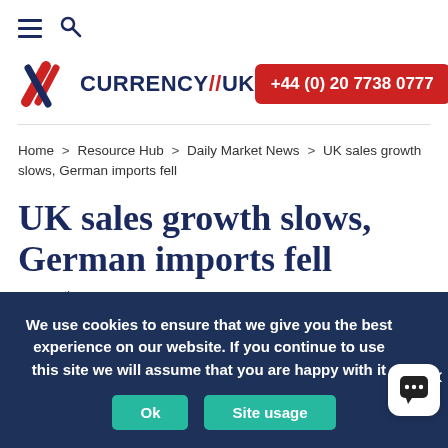≡ 🔍
[Figure (logo): Currency//UK logo with red/blue flag icon and dark blue text]
+44 (0) 20 7738 0777
Home > Resource Hub > Daily Market News > UK sales growth slows, German imports fell
UK sales growth slows, German imports fell
May 30th
🕐 1 minute read
We use cookies to ensure that we give you the best experience on our website. If you continue to use this site we will assume that you are happy with it.